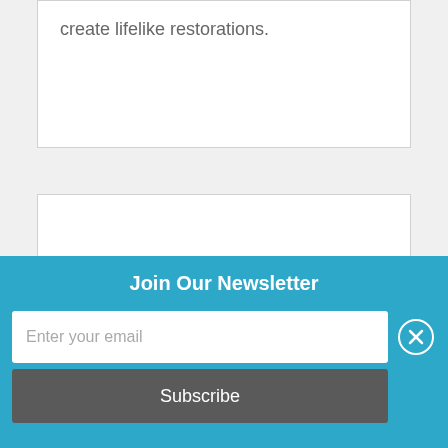create lifelike restorations.
[Figure (other): White content card area, empty]
Join Our Newsletter
Enter your email
Subscribe